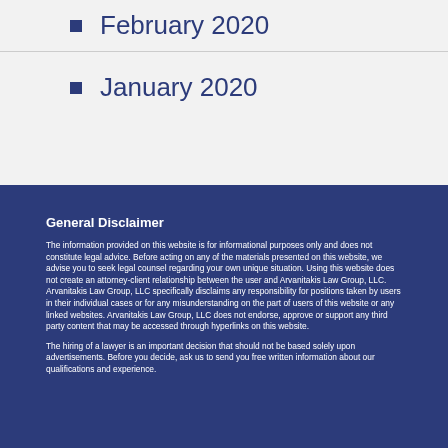February 2020
January 2020
General Disclaimer
The information provided on this website is for informational purposes only and does not constitute legal advice. Before acting on any of the materials presented on this website, we advise you to seek legal counsel regarding your own unique situation. Using this website does not create an attorney-client relationship between the user and Arvanitakis Law Group, LLC. Arvanitakis Law Group, LLC specifically disclaims any responsibility for positions taken by users in their individual cases or for any misunderstanding on the part of users of this website or any linked websites. Arvanitakis Law Group, LLC does not endorse, approve or support any third party content that may be accessed through hyperlinks on this website.
The hiring of a lawyer is an important decision that should not be based solely upon advertisements. Before you decide, ask us to send you free written information about our qualifications and experience.